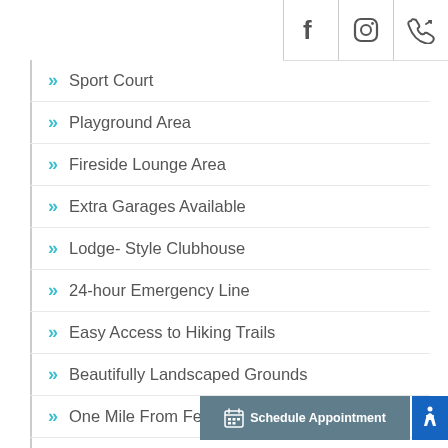Facebook | Instagram | Phone
Sport Court
Playground Area
Fireside Lounge Area
Extra Garages Available
Lodge- Style Clubhouse
24-hour Emergency Line
Easy Access to Hiking Trails
Beautifully Landscaped Grounds
One Mile From Ferris High School
Conveniently Located on Bus Routes
On-site, Full Time, Professional Management
Minutes From Gourme…